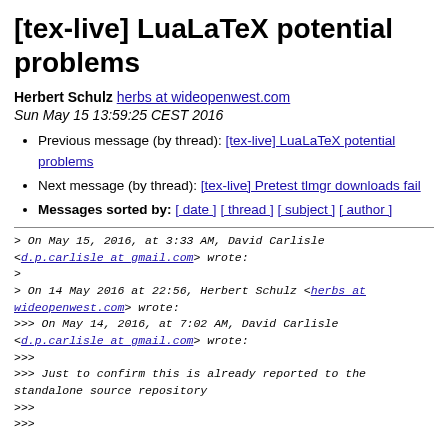[tex-live] LuaLaTeX potential problems
Herbert Schulz herbs at wideopenwest.com
Sun May 15 13:59:25 CEST 2016
Previous message (by thread): [tex-live] LuaLaTeX potential problems
Next message (by thread): [tex-live] Pretest tlmgr downloads fail
Messages sorted by: [ date ] [ thread ] [ subject ] [ author ]
> On May 15, 2016, at 3:33 AM, David Carlisle <d.p.carlisle at gmail.com> wrote:
>
> On 14 May 2016 at 22:56, Herbert Schulz <herbs at wideopenwest.com> wrote:
>>> On May 14, 2016, at 7:02 AM, David Carlisle <d.p.carlisle at gmail.com> wrote:
>>>
>>> Just to confirm this is already reported to the standalone source repository
>>>
>>>